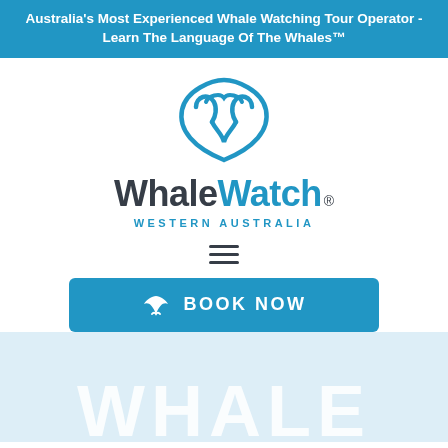Australia's Most Experienced Whale Watching Tour Operator - Learn The Language Of The Whales™
[Figure (logo): Whale Watch Western Australia logo - blue whale tail icon above 'WhaleWatch' wordmark with 'WESTERN AUSTRALIA' subtitle]
[Figure (infographic): Hamburger menu icon - three horizontal lines]
[Figure (infographic): Blue 'BOOK NOW' button with whale tail icon]
WHALE (partially visible large background text)